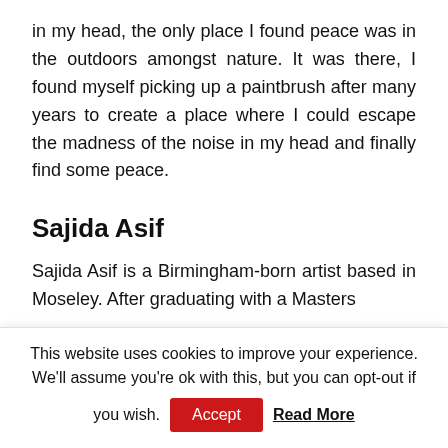in my head, the only place I found peace was in the outdoors amongst nature. It was there, I found myself picking up a paintbrush after many years to create a place where I could escape the madness of the noise in my head and finally find some peace.
Sajida Asif
Sajida Asif is a Birmingham-born artist based in Moseley. After graduating with a Masters
This website uses cookies to improve your experience. We'll assume you're ok with this, but you can opt-out if you wish. Accept Read More